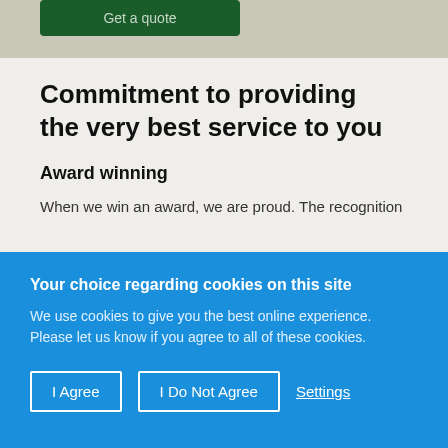[Figure (screenshot): Green 'Get a quote' button at top of page with muted background]
Commitment to providing the very best service to you
Award winning
When we win an award, we are proud. The recognition
Your choice regarding cookies on this site
We use cookies to give you the best online experience. Please let us know if you agree to all of these cookies.
I Agree | I Do Not Agree | Settings